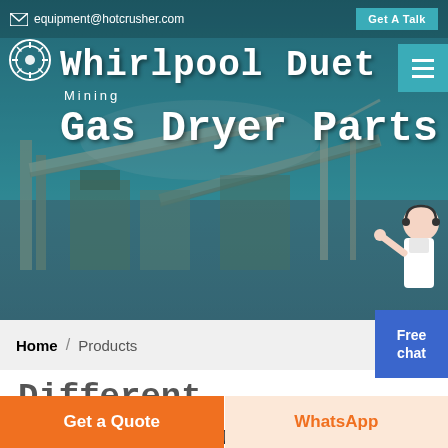equipment@hotcrusher.com  Get A Talk
Whirlpool Duet Gas Dryer Parts
Mining
Home / Products
Different Machines To Meet All Need
[Figure (screenshot): Mining equipment industrial facility background image with conveyor belts and machinery]
Free chat
Get a Quote
WhatsApp